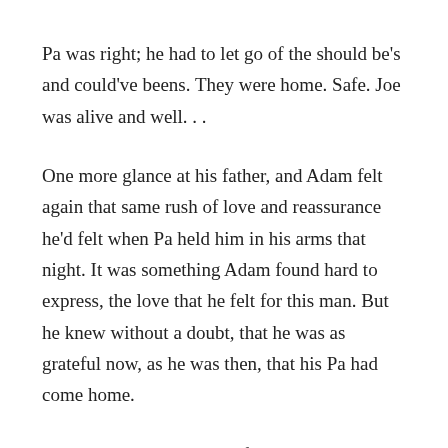Pa was right; he had to let go of the should be's and could've beens. They were home. Safe. Joe was alive and well. . .
One more glance at his father, and Adam felt again that same rush of love and reassurance he'd felt when Pa held him in his arms that night. It was something Adam found hard to express, the love that he felt for this man. But he knew without a doubt, that he was as grateful now, as he was then, that his Pa had come home.
Adam slowly released his father, as they turned towards the stairs. But he knew Ben heard his soft echoing affirmation.
“Very thankful.”